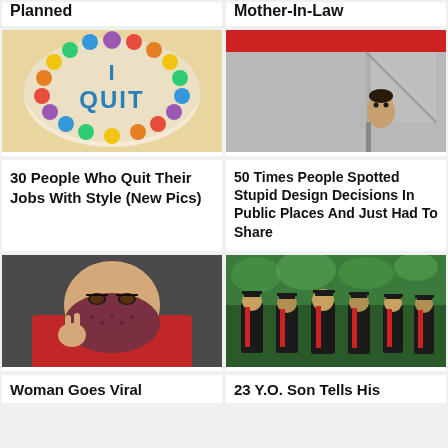Planned
Mother-In-Law
[Figure (photo): A round cake with colorful frosting decorations and 'I QUIT' written in blue icing]
[Figure (photo): A person peeking out from a bathroom stall with metal dividers]
30 People Who Quit Their Jobs With Style (New Pics)
50 Times People Spotted Stupid Design Decisions In Public Places And Just Had To Share
[Figure (photo): A woman in a red outfit wearing a patterned face mask making a peace sign]
[Figure (photo): Graduates in black gowns and mortarboards with red sashes gathered outdoors]
Woman Goes Viral
23 Y.O. Son Tells His